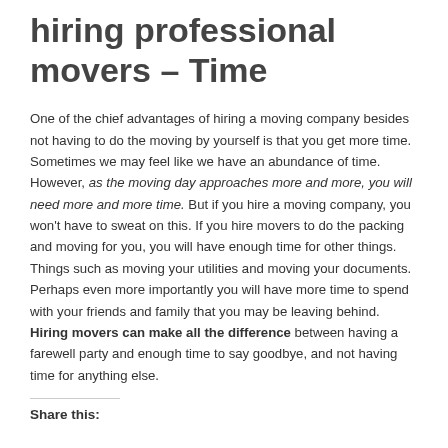hiring professional movers – Time
One of the chief advantages of hiring a moving company besides not having to do the moving by yourself is that you get more time. Sometimes we may feel like we have an abundance of time. However, as the moving day approaches more and more, you will need more and more time. But if you hire a moving company, you won't have to sweat on this. If you hire movers to do the packing and moving for you, you will have enough time for other things. Things such as moving your utilities and moving your documents. Perhaps even more importantly you will have more time to spend with your friends and family that you may be leaving behind. Hiring movers can make all the difference between having a farewell party and enough time to say goodbye, and not having time for anything else.
Share this: